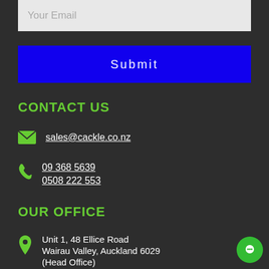Your Email
Submit
CONTACT US
sales@cackle.co.nz
09 368 5639
0508 222 553
OUR OFFICE
Unit 1, 48 Ellice Road
Wairau Valley, Auckland 6029
(Head Office)
OFFICE HOURS